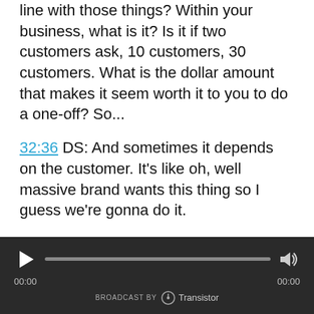line with those things? Within your business, what is it? Is it if two customers ask, 10 customers, 30 customers. What is the dollar amount that makes it seem worth it to you to do a one-off? So...
32:36 DS: And sometimes it depends on the customer. It's like oh, well massive brand wants this thing so I guess we're gonna do it.
32:43 DS: Yeah, yeah. Such difficult decisions that just have ramifications all the time. Everything comes...
[Figure (other): Audio player bar with play button, progress bar, volume button, timestamps 00:00 on both sides, and 'BROADCAST BY Transistor' branding at bottom center.]